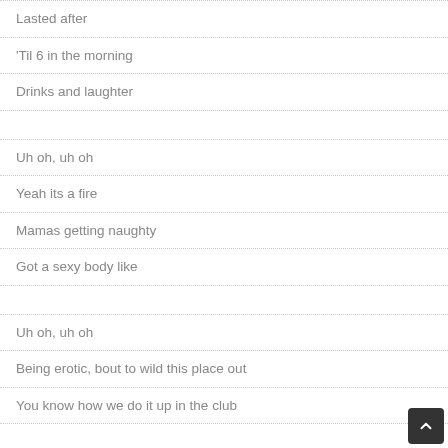Lasted after
'Til 6 in the morning
Drinks and laughter
Uh oh, uh oh
Yeah its a fire
Mamas getting naughty
Got a sexy body like
Uh oh, uh oh
Being erotic, bout to wild this place out
You know how we do it up in the club
[Joe Budden]